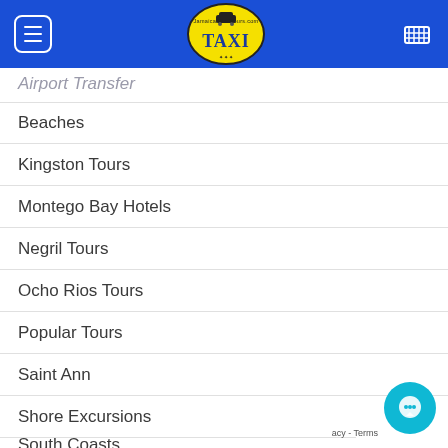JamaicanTaxiTours.com – navigation header with logo
Airport Transfer (partial, cut off at top)
Beaches
Kingston Tours
Montego Bay Hotels
Negril Tours
Ocho Rios Tours
Popular Tours
Saint Ann
Shore Excursions
South Coasts
Transportation (partial, cut off at bottom)
acy - Terms